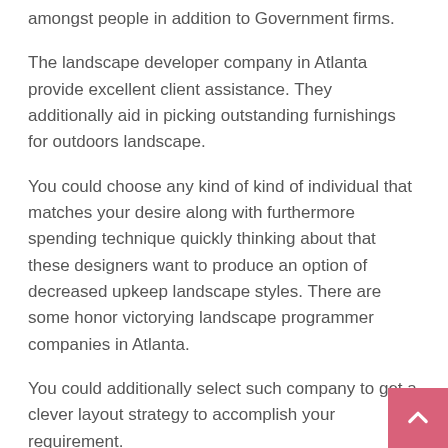amongst people in addition to Government firms.
The landscape developer company in Atlanta provide excellent client assistance. They additionally aid in picking outstanding furnishings for outdoors landscape.
You could choose any kind of kind of individual that matches your desire along with furthermore spending technique quickly thinking about that these designers want to produce an option of decreased upkeep landscape styles. There are some honor victorying landscape programmer companies in Atlanta.
You could additionally select such company to get a clever layout strategy to accomplish your requirement.
The landscape developers of these company make innovative landscape layouts. They in addition give landscape style patterns flawlessly– no problem whether